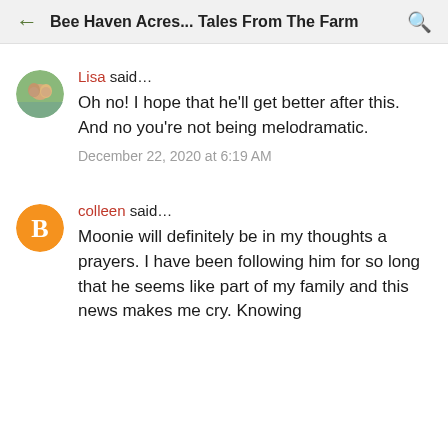Bee Haven Acres... Tales From The Farm
Lisa said...
Oh no! I hope that he'll get better after this. And no you're not being melodramatic.
December 22, 2020 at 6:19 AM
colleen said...
Moonie will definitely be in my thoughts a prayers. I have been following him for so long that he seems like part of my family and this news makes me cry. Knowing